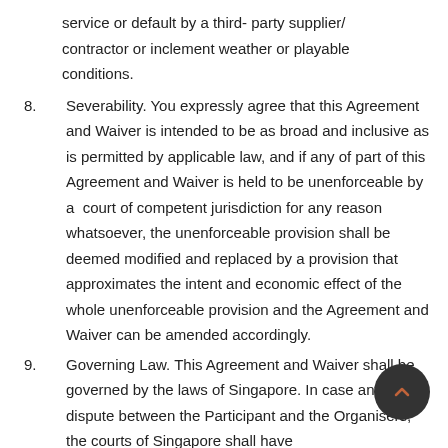service or default by a third- party supplier/contractor or inclement weather or playable conditions.
8. Severability. You expressly agree that this Agreement and Waiver is intended to be as broad and inclusive as is permitted by applicable law, and if any of part of this Agreement and Waiver is held to be unenforceable by a court of competent jurisdiction for any reason whatsoever, the unenforceable provision shall be deemed modified and replaced by a provision that approximates the intent and economic effect of the whole unenforceable provision and the Agreement and Waiver can be amended accordingly.
9. Governing Law. This Agreement and Waiver shall be governed by the laws of Singapore. In case any dispute between the Participant and the Organisers, the courts of Singapore shall have